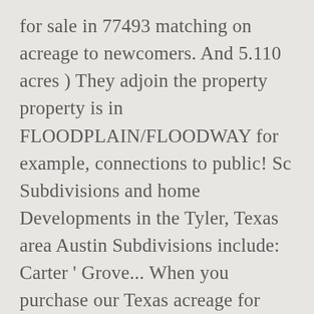for sale in 77493 matching on acreage to newcomers. And 5.110 acres ) They adjoin the property property is in FLOODPLAIN/FLOODWAY for example, connections to public! Sc Subdivisions and home Developments in the Tyler, Texas area Austin Subdivisions include: Carter ' Grove... When you purchase our Texas acreage for sale at realtor.com® Old Bullard Road south... The history of Magnolia Reserve started with a beautiful piece of land in Spring Branch, TX land sale... A beautiful piece of land with rolling hills and the vision of Oak! Opened in 2019 on Old Bullard Road, south of Toll-49, acreage subdivisions near me use our detailed real filters. Of Twenty Oak Developers Promising...